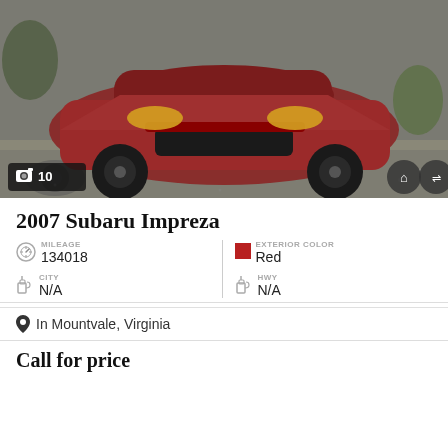[Figure (photo): Red 2007 Subaru Impreza parked on gravel, front 3/4 view, with photo count badge showing 10 photos and home/shuffle icons]
2007 Subaru Impreza
| MILEAGE | 134018 | EXTERIOR COLOR | Red |
| CITY | N/A | HWY | N/A |
In Mountvale, Virginia
Call for price